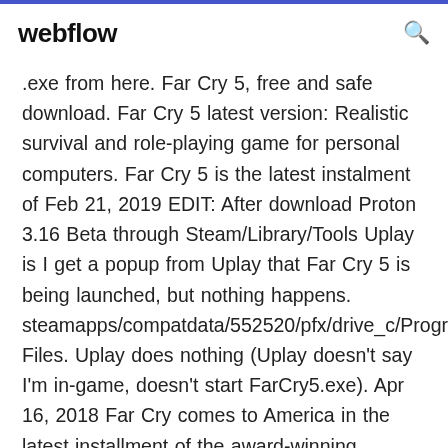webflow
.exe from here. Far Cry 5, free and safe download. Far Cry 5 latest version: Realistic survival and role-playing game for personal computers. Far Cry 5 is the latest instalment of Feb 21, 2019 EDIT: After download Proton 3.16 Beta through Steam/Library/Tools Uplay is I get a popup from Uplay that Far Cry 5 is being launched, but nothing happens. steamapps/compatdata/552520/pfx/drive_c/Program Files. Uplay does nothing (Uplay doesn't say I'm in-game, doesn't start FarCry5.exe). Apr 16, 2018 Far Cry comes to America in the latest installment of the award-winning franchise. Hope County, Montana, has been overrun by a fanatical Apr 20, 2018 It's very Easy And Simple